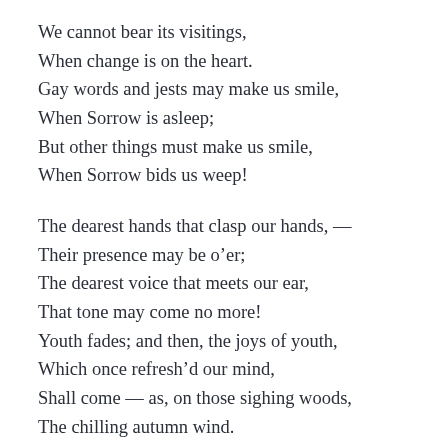We cannot bear its visitings,
When change is on the heart.
Gay words and jests may make us smile,
When Sorrow is asleep;
But other things must make us smile,
When Sorrow bids us weep!
The dearest hands that clasp our hands, —
Their presence may be o’er;
The dearest voice that meets our ear,
That tone may come no more!
Youth fades; and then, the joys of youth,
Which once refresh’d our mind,
Shall come — as, on those sighing woods,
The chilling autumn wind.
Hear not the wind — view not the woods;
Look out o’er vale and hill-
In spring, the sky encircled them —